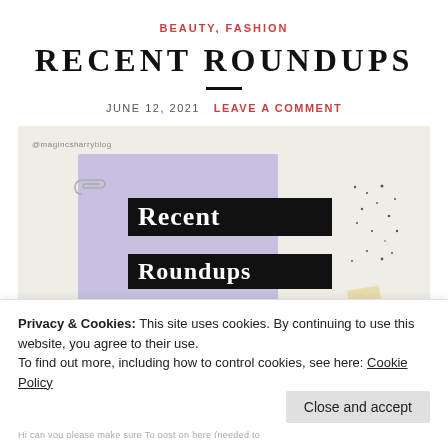BEAUTY, FASHION
RECENT ROUNDUPS
JUNE 12, 2021  LEAVE A COMMENT
[Figure (illustration): Blog post featured image with purple card, paperclip, black text blocks reading 'Recent Roundups', scattered dots and tape piece on beige background. Watermark reads @magincsharryblog]
Privacy & Cookies: This site uses cookies. By continuing to use this website, you agree to their use.
To find out more, including how to control cookies, see here: Cookie Policy
Close and accept
Hi can you please make sure To post on here (needed to